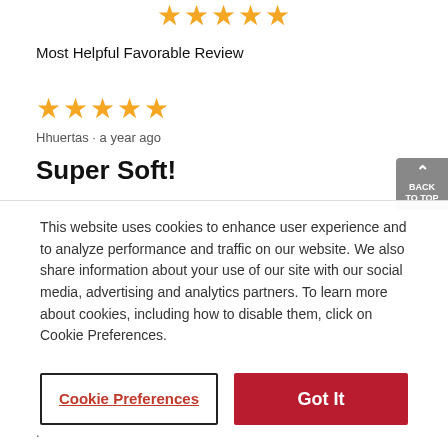[Figure (other): Five gold star rating displayed at top center]
Most Helpful Favorable Review
[Figure (other): Five gold star rating for the review]
Hhuertas · a year ago
Super Soft!
This website uses cookies to enhance user experience and to analyze performance and traffic on our website. We also share information about your use of our site with our social media, advertising and analytics partners. To learn more about cookies, including how to disable them, click on Cookie Preferences.
Cookie Preferences
Got It